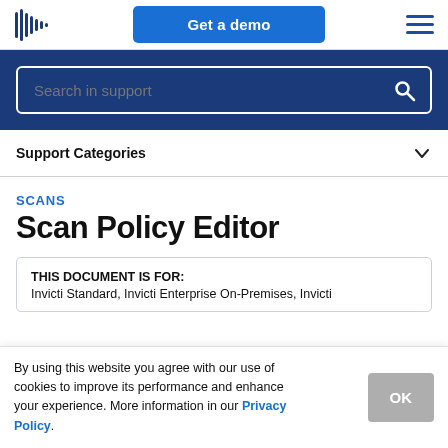Get a demo
[Figure (other): Search bar with text 'Search in support' on a dark blue background]
Support Categories
SCANS
Scan Policy Editor
THIS DOCUMENT IS FOR:
Invicti Standard, Invicti Enterprise On-Premises, Invicti
By using this website you agree with our use of cookies to improve its performance and enhance your experience. More information in our Privacy Policy.